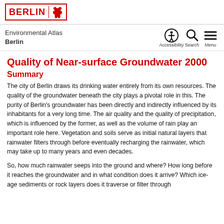BERLIN [logo with bear]
Environmental Atlas
Berlin
Quality of Near-surface Groundwater 2000
Summary
The city of Berlin draws its drinking water entirely from its own resources. The quality of the groundwater beneath the city plays a pivotal role in this. The purity of Berlin's groundwater has been directly and indirectly influenced by its inhabitants for a very long time. The air quality and the quality of precipitation, which is influenced by the former, as well as the volume of rain play an important role here. Vegetation and soils serve as initial natural layers that rainwater filters through before eventually recharging the rainwater, which may take up to many years and even decades.
So, how much rainwater seeps into the ground and where? How long before it reaches the groundwater and in what condition does it arrive? Which ice-age sediments or rock layers does it traverse or filter through